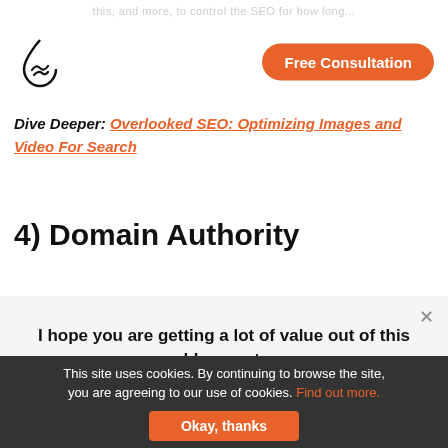this, and more, to control the SEO for how long...
[Figure (logo): Single Grain droplet logo in black outline]
Free Consultation
Dive Deeper: Overlooked SEO: Optimizing Images and Video For Search
4) Domain Authority
I hope you are getting a lot of value out of this blog post.
Do you want to learn more about this topic? Schedule a Free Consultation call with a Single Grain Expert now!
This site uses cookies. By continuing to browse the site, you are agreeing to our use of cookies. Find out more. Okay, thanks